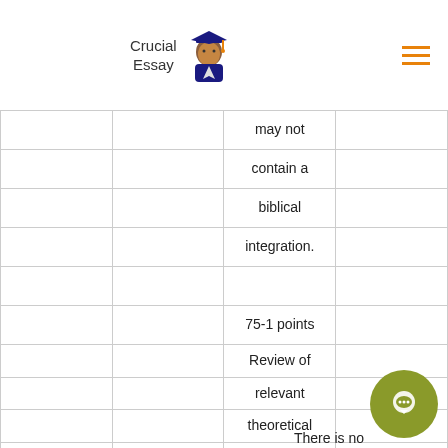Crucial Essay
|  |  |  |  |
| --- | --- | --- | --- |
|  |  | may not |  |
|  |  | contain a |  |
|  |  | biblical |  |
|  |  | integration. |  |
|  |  |  |  |
|  |  | 75-1 points |  |
|  |  | Review of |  |
|  |  | relevant |  |
|  |  | theoretical |  |
|  |  | literature is |  |
|  |  | evident, but | 4...ts |
|  |  | there is no | There is no |